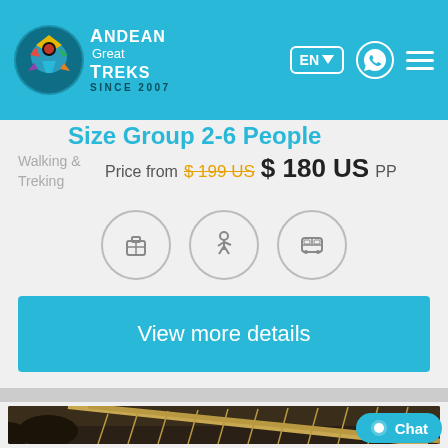[Figure (screenshot): Andean Great Treks navigation bar with logo, EN language selector, WhatsApp icon, and hamburger menu on blue background]
Size Group 2-6 People
Walking & Treking
Price from $ 199 US $ 180 US PP
[Figure (infographic): Three circular icons: luggage/ticket, hiking person, bus]
View more details
[Figure (photo): Rope bridge over rocky gorge, Peru / Inca rope bridge]
Chat